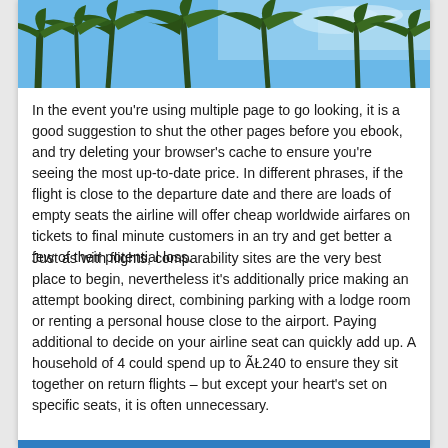[Figure (photo): Photo of palm trees against a blue sky, cropped at the top of the page]
In the event you're using multiple page to go looking, it is a good suggestion to shut the other pages before you ebook, and try deleting your browser's cache to ensure you're seeing the most up-to-date price. In different phrases, if the flight is close to the departure date and there are loads of empty seats the airline will offer cheap worldwide airfares on tickets to final minute customers in an try and get better a few of their potential loss.
Just as with flights, comparability sites are the very best place to begin, nevertheless it's additionally price making an attempt booking direct, combining parking with a lodge room or renting a personal house close to the airport. Paying additional to decide on your airline seat can quickly add up. A household of 4 could spend up to ÃŁ240 to ensure they sit together on return flights – but except your heart's set on specific seats, it is often unnecessary.